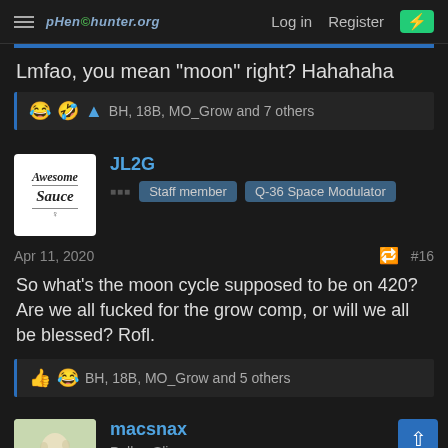pHen©hunter.org  Log in  Register
Lmfao, you mean "moon" right? Hahahaha
😂🤣👤 BH, 18B, MO_Grow and 7 others
JL2G  Staff member  Q-36 Space Modulator
Apr 11, 2020  #16
So what's the moon cycle supposed to be on 420? Are we all fucked for the grow comp, or will we all be blessed? Rofl.
👍😂 BH, 18B, MO_Grow and 5 others
macsnax  Pollen Slinger